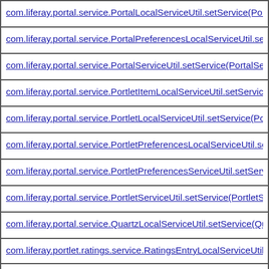| com.liferay.portal.service.PortalLocalServiceUtil.setService(PortalL… |
| com.liferay.portal.service.PortalPreferencesLocalServiceUtil.setServ… |
| com.liferay.portal.service.PortalServiceUtil.setService(PortalService… |
| com.liferay.portal.service.PortletItemLocalServiceUtil.setService(Po… |
| com.liferay.portal.service.PortletLocalServiceUtil.setService(Portlet… |
| com.liferay.portal.service.PortletPreferencesLocalServiceUtil.setSer… |
| com.liferay.portal.service.PortletPreferencesServiceUtil.setService(P… |
| com.liferay.portal.service.PortletServiceUtil.setService(PortletServi… |
| com.liferay.portal.service.QuartzLocalServiceUtil.setService(Quartz… |
| com.liferay.portlet.ratings.service.RatingsEntryLocalServiceUtil.set… |